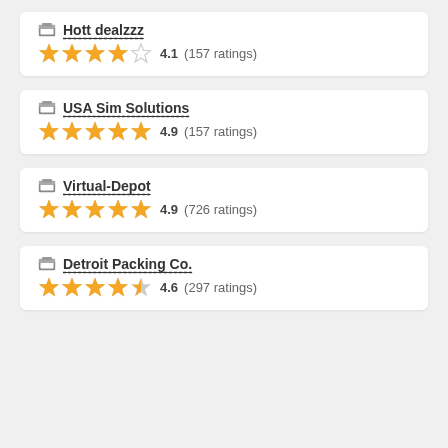Hott dealzzz — 4.1 (157 ratings)
USA Sim Solutions — 4.9 (157 ratings)
Virtual-Depot — 4.9 (726 ratings)
Detroit Packing Co. — 4.6 (297 ratings)